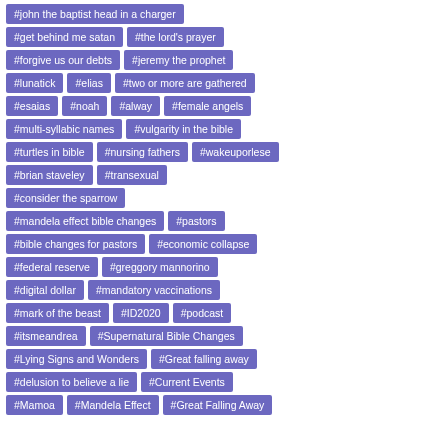[Figure (infographic): Tag cloud of hashtags on purple/violet pill-shaped buttons arranged in rows against a white background. Tags include religious, political, and social media topics such as #john the baptist head in a charger, #get behind me satan, #the lord's prayer, #forgive us our debts, #jeremy the prophet, #lunatick, #elias, #two or more are gathered, #esaias, #noah, #alway, #female angels, #multi-syllabic names, #vulgarity in the bible, #turtles in bible, #nursing fathers, #wakeuporlese, #brian staveley, #transexual, #consider the sparrow, #mandela effect bible changes, #pastors, #bible changes for pastors, #economic collapse, #federal reserve, #greggory mannorino, #digital dollar, #mandatory vaccinations, #mark of the beast, #ID2020, #podcast, #itsmeandrea, #Supernatural Bible Changes, #Lying Signs and Wonders, #Great falling away, #delusion to believe a lie, #Current Events, #Mamoa, #Mandela Effect, #Great Falling Away]